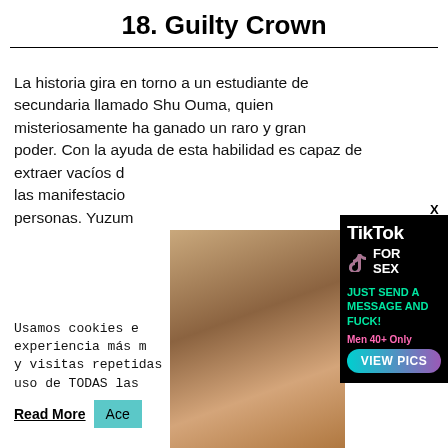18. Guilty Crown
La historia gira en torno a un estudiante de secundaria llamado Shu Ouma, quien misteriosamente ha ganado un raro y gran poder. Con la ayuda de esta habilidad es capaz de extraer vacíos d... las manifestacio... personas. Yuzum...
Usamos cookies e... experiencia más m... y visitas repetidas... uso de TODAS las...
Read More  Ace...
[Figure (photo): Advertisement overlay with photo of a woman and TikTok For Sex ad banner with text: TikTok FOR SEX, JUST SEND A MESSAGE AND FUCK!, Men 40+ Only, VIEW PICS]